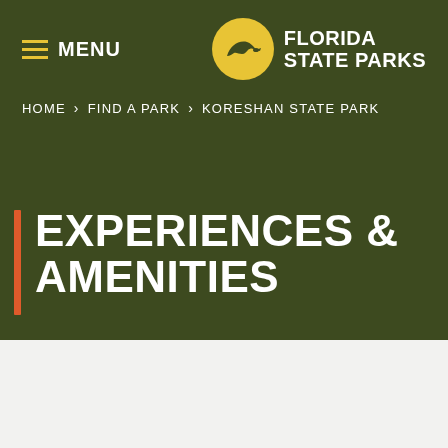MENU
[Figure (logo): Florida State Parks logo with panther silhouette in yellow circle and FLORIDA STATE PARKS text]
HOME > FIND A PARK > KORESHAN STATE PARK
EXPERIENCES & AMENITIES
SHARE
Back to Koreshan State Park